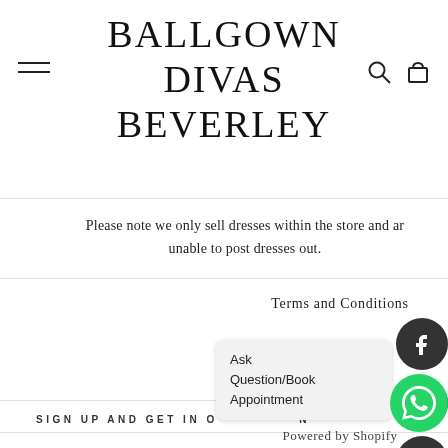BALLGOWN DIVAS BEVERLEY
Please note we only sell dresses within the store and are unable to post dresses out.
Terms and Conditions
Returns Policy
Cookie Policy
SIGN UP AND GET IN O[RDER] N[EWS]
[Figure (screenshot): WhatsApp tooltip popup with text: Ask Question/Book Appointment]
Powered by Shopify